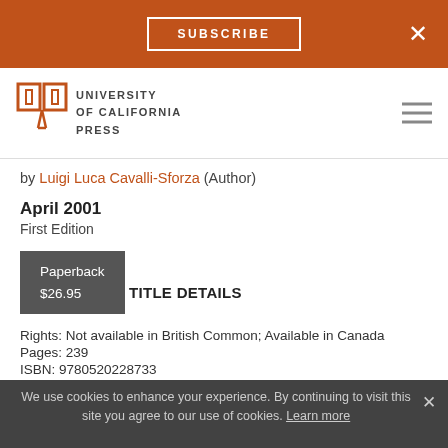SUBSCRIBE
[Figure (logo): University of California Press logo with open book icon and text UNIVERSITY of CALIFORNIA PRESS]
by Luigi Luca Cavalli-Sforza (Author)
April 2001
First Edition
Paperback
$26.95
TITLE DETAILS
Rights: Not available in British Common; Available in Canada
Pages: 239
ISBN: 9780520228733
We use cookies to enhance your experience. By continuing to visit this site you agree to our use of cookies. Learn more